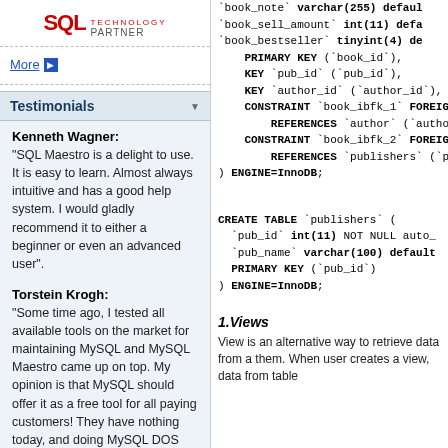[Figure (logo): SQL Maestro Technology Partner logo (red SQL text with TECHNOLOGY PARTNER text below)]
More ▶
Testimonials
Kenneth Wagner:
"SQL Maestro is a delight to use. It is easy to learn. Almost always intuitive and has a good help system. I would gladly recommend it to either a beginner or even an advanced user".
Torstein Krogh:
"Some time ago, I tested all available tools on the market for maintaining MySQL and MySQL Maestro came up on top. My opinion is that MySQL should offer it as a free tool for all paying customers! They have nothing today, and doing MySQL DOS commands is not getting any new customers".
`book_note` varchar(255) defaul
`book_sell_amount` int(11) defa
`book_bestseller` tinyint(4) de
PRIMARY KEY (`book_id`),
KEY `pub_id` (`pub_id`),
KEY `author_id` (`author_id`),
CONSTRAINT `book_ibfk_1` FOREIG
    REFERENCES `author` (`autho
CONSTRAINT `book_ibfk_2` FOREIG
    REFERENCES `publishers` (`p
) ENGINE=InnoDB;
CREATE TABLE `publishers` (
  `pub_id` int(11) NOT NULL auto_
  `pub_name` varchar(100) default
  PRIMARY KEY (`pub_id`)
) ENGINE=InnoDB;
1.Views
View is an alternative way to retrieve data from a them. When user creates a view, data from table